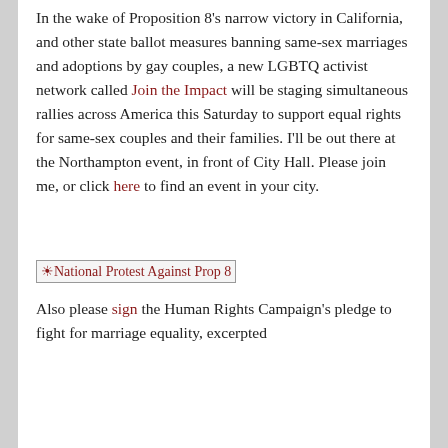In the wake of Proposition 8's narrow victory in California, and other state ballot measures banning same-sex marriages and adoptions by gay couples, a new LGBTQ activist network called Join the Impact will be staging simultaneous rallies across America this Saturday to support equal rights for same-sex couples and their families. I'll be out there at the Northampton event, in front of City Hall. Please join me, or click here to find an event in your city.
[Figure (other): Broken image placeholder labeled 'National Protest Against Prop 8']
Also please sign the Human Rights Campaign's pledge to fight for marriage equality, excerpted